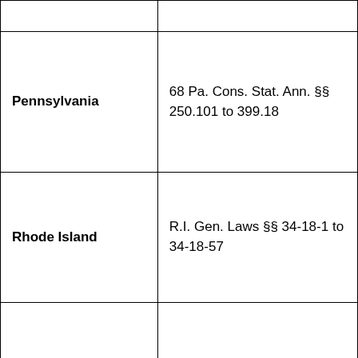| State | Statute |
| --- | --- |
|  |  |
| Pennsylvania | 68 Pa. Cons. Stat. Ann. §§ 250.101 to 399.18 |
| Rhode Island | R.I. Gen. Laws §§ 34-18-1 to 34-18-57 |
| South Carolina | S.C. Code Ann. §§ 5-25-1330; 27-40-10 to 27-40-940 |
|  |  |